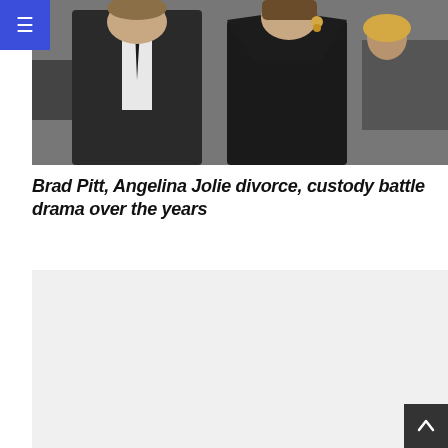[Figure (photo): Brad Pitt and Angelina Jolie posing together at a formal event, Pitt in a black suit, Jolie in a black halter dress]
Brad Pitt, Angelina Jolie divorce, custody battle drama over the years
[Figure (photo): Secondary article image, placeholder gray background]